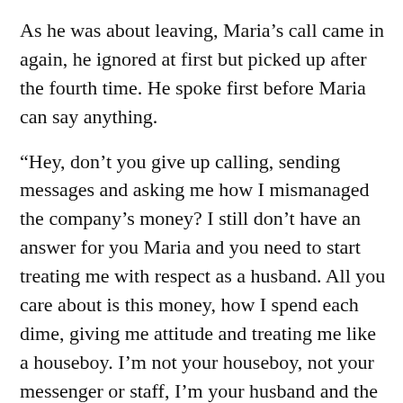As he was about leaving, Maria’s call came in again, he ignored at first but picked up after the fourth time. He spoke first before Maria can say anything.
“Hey, don’t you give up calling, sending messages and asking me how I mismanaged the company’s money? I still don’t have an answer for you Maria and you need to start treating me with respect as a husband. All you care about is this money, how I spend each dime, giving me attitude and treating me like a houseboy. I’m not your houseboy, not your messenger or staff, I’m your husband and the earlier you understand that the better. I don’t know who is brainwashing you over there, is obvious you ’re seeing another man…I don’t need anyone to tell me the obvious truth. That’s the only explanation why you keep treating me like some errand boy. Yes, I spent the Millions on my health and some other personal things. If